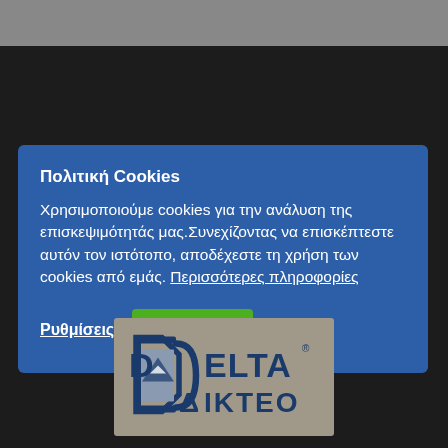Πολιτική Cookies
Χρησιμοποιούμε cookies για την ανάλυση της επισκεψιμότητάς μας.Συνεχίζοντας να επισκέπτεστε αυτόν τον ιστότοπο, αποδέχεστε τη χρήση των cookies από εμάς. Περισσότερες πληροφορίες
[Figure (logo): Delta Dikteo logo — stylized D with mountain/sail icon, text DELTA DIKTEO in dark navy blue]